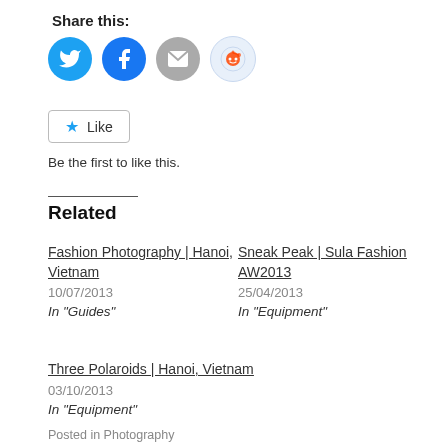Share this:
[Figure (illustration): Four social sharing icon circles: Twitter (blue), Facebook (blue), Email (gray), Reddit (light blue)]
[Figure (illustration): Like button with blue star icon and 'Like' text]
Be the first to like this.
Related
Fashion Photography | Hanoi, Vietnam
10/07/2013
In "Guides"
Sneak Peak | Sula Fashion AW2013
25/04/2013
In "Equipment"
Three Polaroids | Hanoi, Vietnam
03/10/2013
In "Equipment"
Posted in Photography